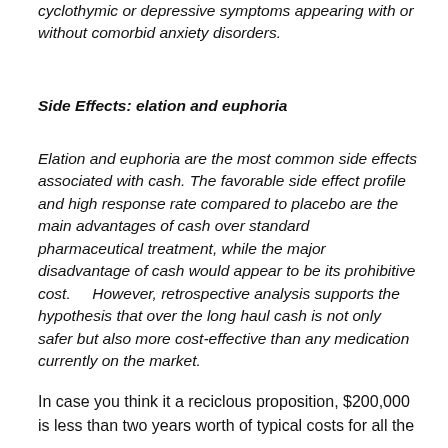cyclothymic or depressive symptoms appearing with or without comorbid anxiety disorders.
Side Effects: elation and euphoria
Elation and euphoria are the most common side effects associated with cash. The favorable side effect profile and high response rate compared to placebo are the main advantages of cash over standard pharmaceutical treatment, while the major disadvantage of cash would appear to be its prohibitive cost.    However, retrospective analysis supports the hypothesis that over the long haul cash is not only safer but also more cost-effective than any medication currently on the market.
In case you think it a reciclous proposition, $200,000 is less than two years worth of typical costs for all the